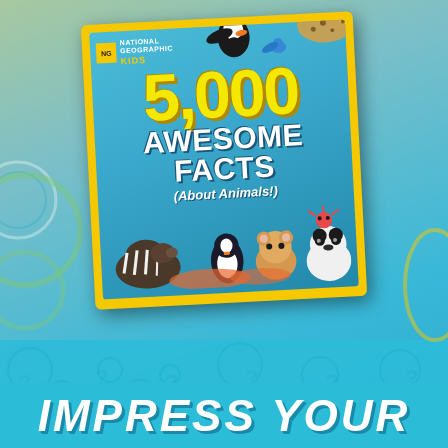[Figure (illustration): National Geographic Kids book cover: '5,000 Awesome Facts (About Animals!)' with yellow border on teal background, showing various animals including puffin, cheetah, panda, tapir, hamster, penguin, crab, and snake. Below the book cover is large bold white italic text reading 'IMPRESS YOUR' on a light blue background with bubble patterns.]